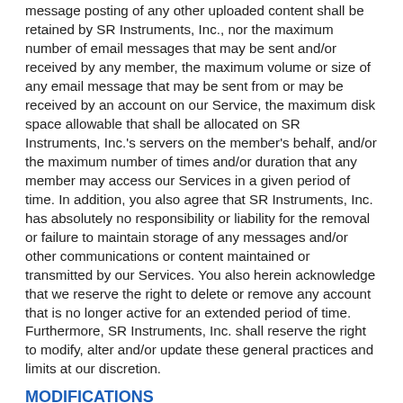message posting of any other uploaded content shall be retained by SR Instruments, Inc., nor the maximum number of email messages that may be sent and/or received by any member, the maximum volume or size of any email message that may be sent from or may be received by an account on our Service, the maximum disk space allowable that shall be allocated on SR Instruments, Inc.'s servers on the member's behalf, and/or the maximum number of times and/or duration that any member may access our Services in a given period of time. In addition, you also agree that SR Instruments, Inc. has absolutely no responsibility or liability for the removal or failure to maintain storage of any messages and/or other communications or content maintained or transmitted by our Services. You also herein acknowledge that we reserve the right to delete or remove any account that is no longer active for an extended period of time. Furthermore, SR Instruments, Inc. shall reserve the right to modify, alter and/or update these general practices and limits at our discretion.
MODIFICATIONS
SR Instruments, Inc. shall reserve the right at any time it may deem fit, to modify, alter and or discontinue, whether temporarily or permanently, our service, or any part thereof, with or without prior notice. In addition, we shall not be held liable to you or to any third